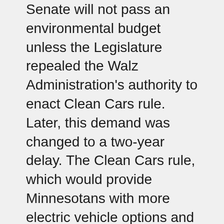Senate will not pass an environmental budget unless the Legislature repealed the Walz Administration's authority to enact Clean Cars rule. Later, this demand was changed to a two-year delay. The Clean Cars rule, which would provide Minnesotans with more electric vehicle options and reduce emissions from all new vehicles sold, is currently scheduled to take effect no earlier than January 2024.
If an environmental budget is not passed in the special session, Minnesotans could see state parks shut down in July, and numerous beneficial programs to improve habitat and water quality left unsupported.
And while they have budget targets for environmental agencies, House and Senate must also negotiate on policy provisions. Some proposals, like protections against pesticides, establishing a soil health goal for farmland, and enacting a new focus on environmental justice for new projects, should be included. Others, like